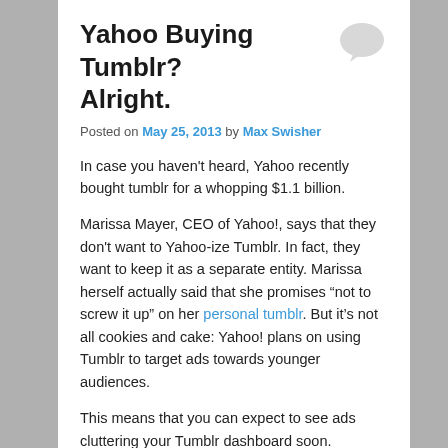Yahoo Buying Tumblr? Alright.
Posted on May 25, 2013 by Max Swisher
In case you haven't heard, Yahoo recently bought tumblr for a whopping $1.1 billion.
Marissa Mayer, CEO of Yahoo!, says that they don't want to Yahoo-ize Tumblr. In fact, they want to keep it as a separate entity. Marissa herself actually said that she promises “not to screw it up” on her personal tumblr. But it’s not all cookies and cake: Yahoo! plans on using Tumblr to target ads towards younger audiences.
This means that you can expect to see ads cluttering your Tumblr dashboard soon.
But there’s an upside as well: with a behemoth like Yahoo! running the backend, users should expect to see less